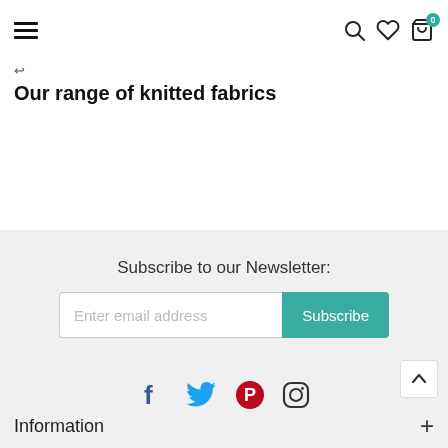Menu | Search | Wishlist | Cart (0)
↩
Our range of knitted fabrics
Subscribe to our Newsletter:
Enter email address | Subscribe
[Figure (infographic): Social media icons: Facebook (blue), Twitter (light blue), Pinterest (red), Instagram (outlined)]
Information +